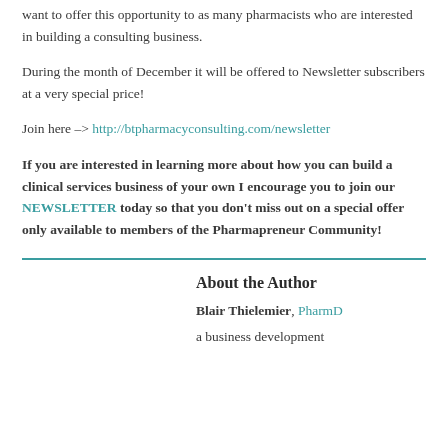want to offer this opportunity to as many pharmacists who are interested in building a consulting business.
During the month of December it will be offered to Newsletter subscribers at a very special price!
Join here –> http://btpharmacyconsulting.com/newsletter
If you are interested in learning more about how you can build a clinical services business of your own I encourage you to join our NEWSLETTER today so that you don't miss out on a special offer only available to members of the Pharmapreneur Community!
About the Author
Blair Thielemier, PharmD a business development